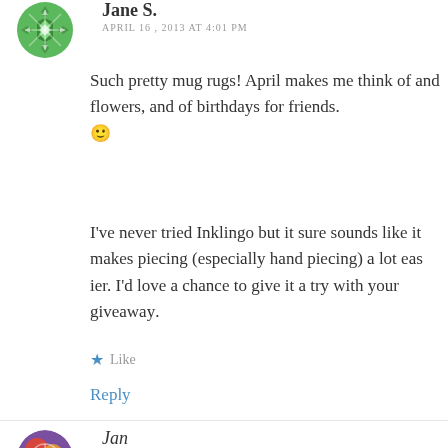Jane S.
APRIL 16, 2013 AT 4:01 PM
Such pretty mug rugs! April makes me think of flowers, and birthdays for friends. 🙂
I've never tried Inklingo but it sure sounds like it makes piecing (especially hand piecing) a lot easier. I'd love a chance to give it a try with your giveaway.
★ Like
Reply
Jan
APRIL 16, 2013 AT 4:14 PM
Your mug rugs are fantastic! I love the Cl... favorite thing about April is that nature is...